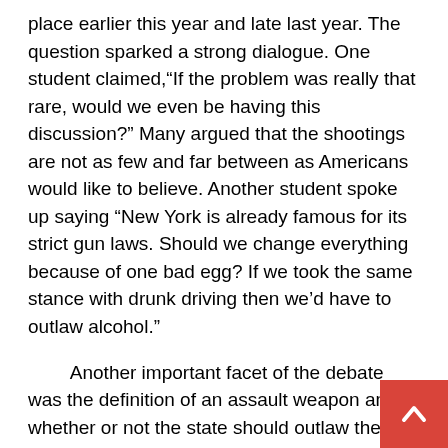place earlier this year and late last year. The question sparked a strong dialogue. One student claimed,"If the problem was really that rare, would we even be having this discussion?" Many argued that the shootings are not as few and far between as Americans would like to believe. Another student spoke up saying "New York is already famous for its strict gun laws. Should we change everything because of one bad egg? If we took the same stance with drunk driving then we’d have to outlaw alcohol."
Another important facet of the debate was the definition of an assault weapon and whether or not the state should outlaw them. One member, who was knowledgeable about the mechanical aspect of guns and the new legislation, expressed the view that removing assault weapons would not stop mass shootings from occurring, as a shooter can kill many people with a single hand gun. Many students maintained the belief that an assault weapon is unneces… for a civilian to own. One member of the club stated, “Th… no real reason for someone to own an enormous assault